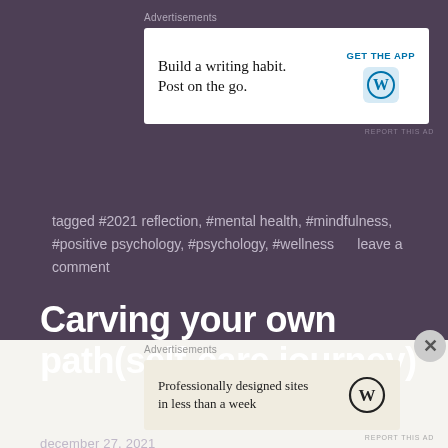[Figure (screenshot): Advertisement banner: 'Build a writing habit. Post on the go.' with WordPress logo and GET THE APP button]
tagged #2021 reflection, #mental health, #mindfulness, #positive psychology, #psychology, #wellness     leave a comment
Carving your own path(self-care journey)
december 27, 2021
[Figure (screenshot): Advertisement banner: 'Professionally designed sites in less than a week' with WordPress logo]